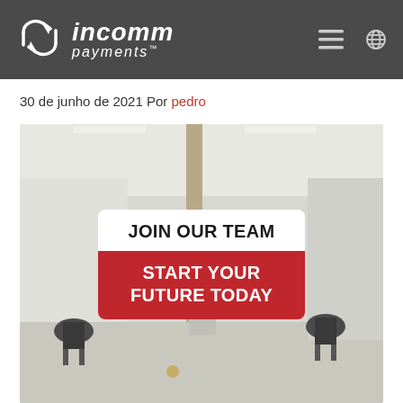InComm Payments
30 de junho de 2021 Por pedro
[Figure (photo): Office interior with desks and chairs in background. Overlay sign reads 'JOIN OUR TEAM / START YOUR FUTURE TODAY' — white top section with black bold text and red bottom section with white bold text.]